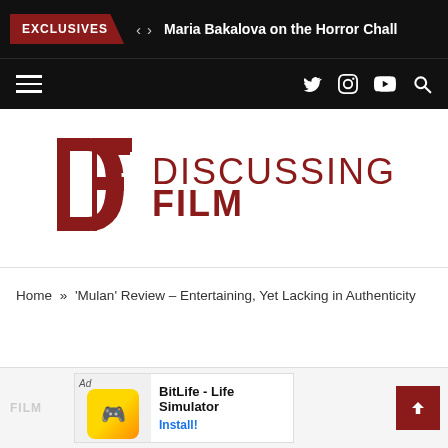EXCLUSIVES  < >  Maria Bakalova on the Horror Chall
Navigation bar with hamburger menu, Twitter, Instagram, YouTube, Search icons
[Figure (logo): Discussing Film logo: red DF monogram and DISCUSSINGFILM wordmark in dark red]
Home » 'Mulan' Review – Entertaining, Yet Lacking in Authenticity
FILM
[Figure (screenshot): Ad banner: BitLife - Life Simulator mobile game advertisement with Install button]